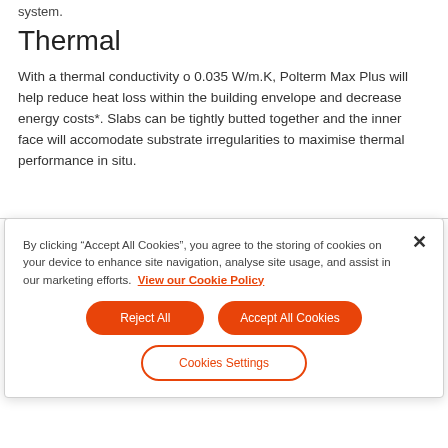system.
Thermal
With a thermal conductivity o 0.035 W/m.K, Polterm Max Plus will help reduce heat loss within the building envelope and decrease energy costs*. Slabs can be tightly butted together and the inner face will accomodate substrate irregularities to maximise thermal performance in situ.
By clicking “Accept All Cookies”, you agree to the storing of cookies on your device to enhance site navigation, analyse site usage, and assist in our marketing efforts. View our Cookie Policy
Reject All
Accept All Cookies
Cookies Settings